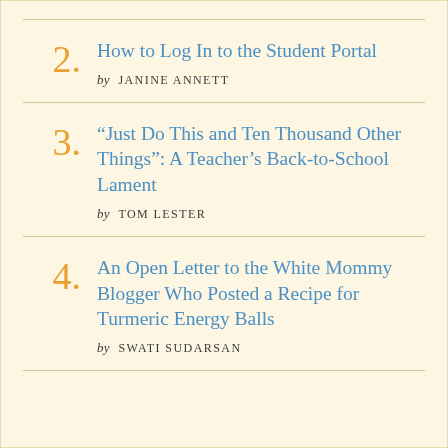2. How to Log In to the Student Portal by JANINE ANNETT
3. “Just Do This and Ten Thousand Other Things”: A Teacher’s Back-to-School Lament by TOM LESTER
4. An Open Letter to the White Mommy Blogger Who Posted a Recipe for Turmeric Energy Balls by SWATI SUDARSAN